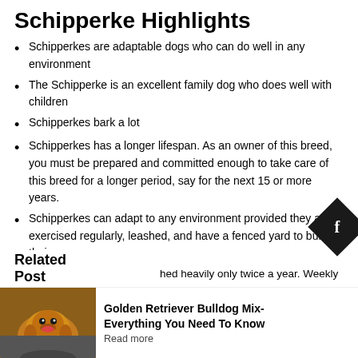Schipperke Highlights
Schipperkes are adaptable dogs who can do well in any environment
The Schipperke is an excellent family dog who does well with children
Schipperkes bark a lot
Schipperkes has a longer lifespan. As an owner of this breed, you must be prepared and committed enough to take care of this breed for a longer period, say for the next 15 or more years.
Schipperkes can adapt to any environment provided they are exercised regularly, leashed, and have a fenced yard to burn their energy.
hed heavily only twice a year. Weekly
Related Post
[Figure (photo): Golden Retriever dog photo]
Golden Retriever Bulldog Mix- Everything You Need To Know
Read more